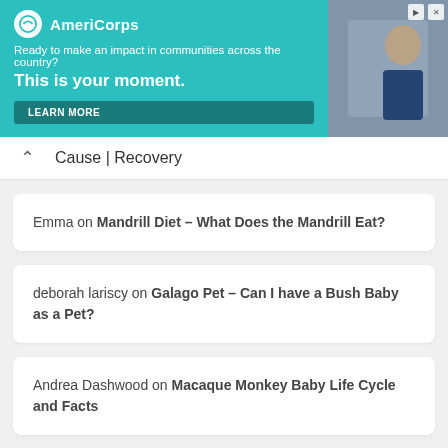[Figure (photo): AmeriCorps advertisement banner with teal background. Logo with white circle and text 'AmeriCorps'. Tagline: 'Ready to make an impact in communities across the country?' Headline: 'This is your moment.' LEARN MORE button. Photo of person on right side.]
Cause | Recovery
Emma on Mandrill Diet – What Does the Mandrill Eat?
deborah lariscy on Galago Pet – Can I have a Bush Baby as a Pet?
Andrea Dashwood on Macaque Monkey Baby Life Cycle and Facts
ARCHIVES